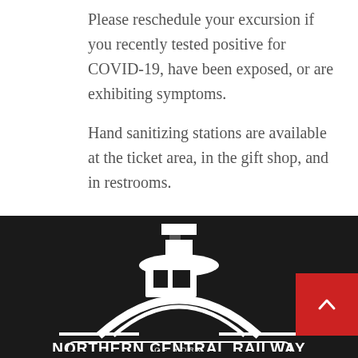Please reschedule your excursion if you recently tested positive for COVID-19, have been exposed, or are exhibiting symptoms.
Hand sanitizing stations are available at the ticket area, in the gift shop, and in restrooms.
[Figure (logo): Northern Central Railway logo — white steam locomotive icon above the text 'NORTHERN CENTRAL RAILWAY' on a black background, with partial text 'OF YORK' visible below]